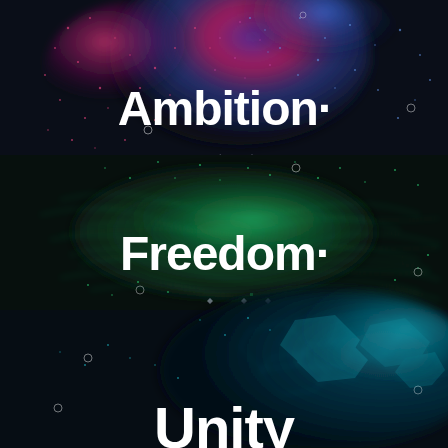[Figure (illustration): Dark background image divided into three vertical sections. Top third: pink/magenta and blue particle/cloud explosion on near-black background with small circle markers. Text 'Ambition.' in large bold white sans-serif. Middle third: green glowing network/smoke wisps on dark background with circle markers. Text 'Freedom.' in large bold white sans-serif. Bottom third: teal/cyan crystalline or ice-like abstract shapes on dark background with circle markers. Text 'Unity' in large bold white sans-serif (partially cropped at bottom).]